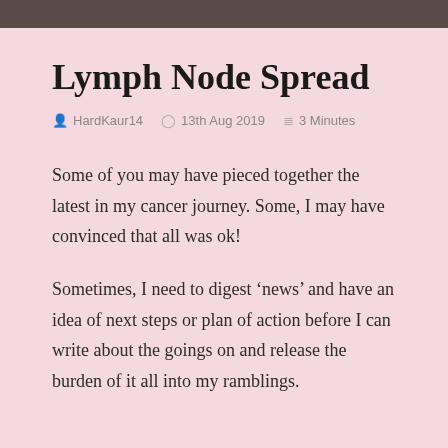Lymph Node Spread
HardKaur14   13th Aug 2019   3 Minutes
Some of you may have pieced together the latest in my cancer journey. Some, I may have convinced that all was ok!
Sometimes, I need to digest ‘news’ and have an idea of next steps or plan of action before I can write about the goings on and release the burden of it all into my ramblings.